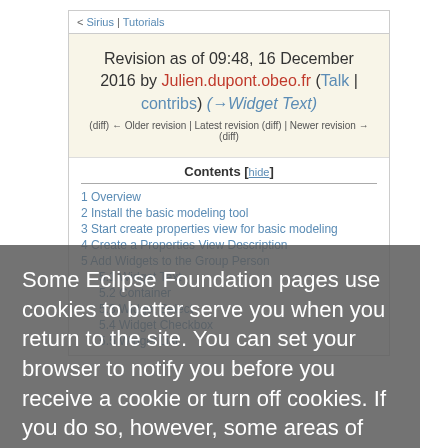< Sirius | Tutorials
Revision as of 09:48, 16 December 2016 by Julien.dupont.obeo.fr (Talk | contribs) (→Widget Text)
(diff) ← Older revision | Latest revision (diff) | Newer revision → (diff)
Contents [hide]
1 Overview
2 Install the basic modeling tool
3 Start create properties view for basic modeling
4 Create a Properties View Description
5 Add Widgets to the Group Person
5.1 Widget Text
5.2 Container
5.3 Widget Select
5.4 Widget Checkbox
5.5 Widget List
Some Eclipse Foundation pages use cookies to better serve you when you return to the site. You can set your browser to notify you before you receive a cookie or turn off cookies. If you do so, however, some areas of some sites may not function properly. To read Eclipse Foundation Privacy Policy click here.
Decline
Allow cookies